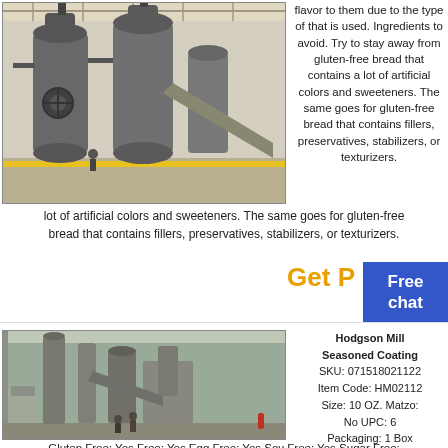[Figure (photo): Industrial milling equipment in a factory — large grey cylindrical grinding mills with pipes and machinery, indoor industrial facility with yellow floor markings]
flavor to them due to the type of that is used. Ingredients to avoid. Try to stay away from gluten-free bread that contains a lot of artificial colors and sweeteners. The same goes for gluten-free bread that contains fillers, preservatives, stabilizers, or texturizers.
Get P
Free chat
[Figure (photo): Industrial facility interior showing tall silos and conveyor structures, workers standing in a large warehouse-style building with machinery]
Hodgson Mill Seasoned Coating SKU: 071518021122 Item Code: HM02112 Size: 10 OZ. Matzo: No UPC: 6 Packaging: 1 Box Brand: Hodgson Mill Kosher Certification: OU (Orthodox Union)
Gluten Free: Yes Free: Yes Egg Free: Yes Soy Free: Yes Sugar Free: Yes Dairy Free: Yes Nut Free: Yes